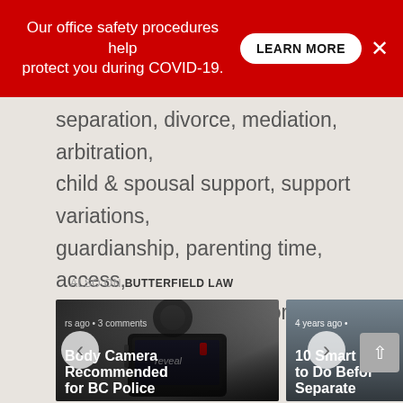Our office safety procedures help protect you during COVID-19. LEARN MORE ×
separation, divorce, mediation, arbitration, child & spousal support, support variations, guardianship, parenting time, access, property division and more. Victoria BC
ALSO ON BUTTERFIELD LAW
[Figure (photo): Body camera device showing a smartphone screen with 'reveal' text, red accent. Card overlay shows metadata 'rs ago • 3 comments' and title 'Body Camera Recommended for BC Police']
[Figure (photo): Gray card with user/person icon silhouette. Shows '4 years ago •' metadata and title '10 Smart Th... to Do Befor... Separate']